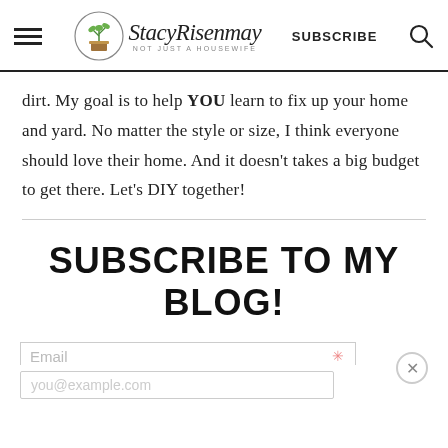StacyRisenmay — NOT JUST A HOUSEWIFE | SUBSCRIBE | Search
dirt. My goal is to help YOU learn to fix up your home and yard. No matter the style or size, I think everyone should love their home. And it doesn't takes a big budget to get there. Let's DIY together!
SUBSCRIBE TO MY BLOG!
Email  you@example.com